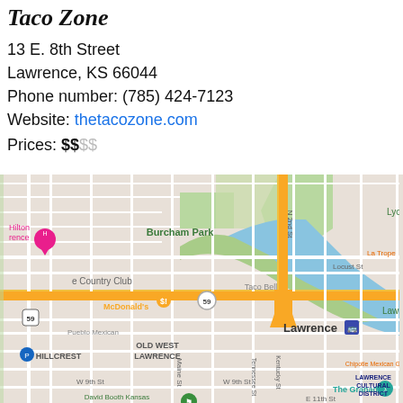Taco Zone
13 E. 8th Street
Lawrence, KS 66044
Phone number: (785) 424-7123
Website: thetacozone.com
Prices: $$$$
[Figure (map): Google Maps view centered on Lawrence, KS showing Taco Zone location near 8th Street. Visible landmarks include Burcham Park, Old West Lawrence, Hillcrest neighborhood, McDonald's, Taco Bell, Lawrence Cultural District, The Granada, David Booth Kansas Memorial Stadium, and streets including N 2nd St, Locust St, Maine St, Tennessee St, Kentucky St, W 9th St, E 11th St.]